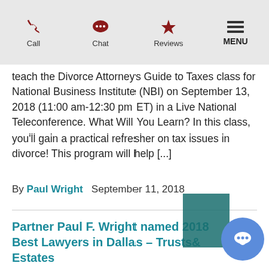Call  Chat  Reviews  MENU
teach the Divorce Attorneys Guide to Taxes class for National Business Institute (NBI) on September 13, 2018 (11:00 am-12:30 pm ET) in a Live National Teleconference. What Will You Learn? In this class, you'll gain a practical refresher on tax issues in divorce! This program will help [...]
By Paul Wright   September 11, 2018
Partner Paul F. Wright named 2018 Best Lawyers in Dallas – Trusts & Estates